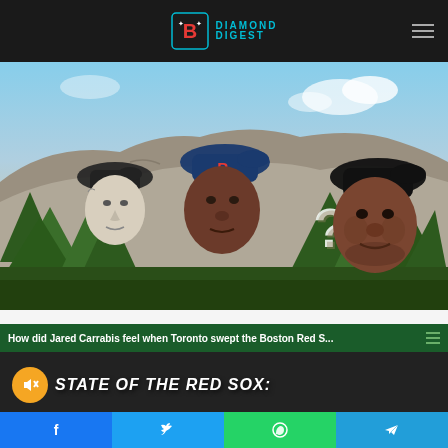Diamond Digest
[Figure (photo): Mount Rushmore style image with Red Sox baseball players' faces photoshopped onto the monument, including a vintage player, a modern player, a question mark figure, and David Ortiz, against a sky and tree background]
How did Jared Carrabis feel when Toronto swept the Boston Red S...
[Figure (screenshot): Video thumbnail showing 'STATE OF THE RED SOX:' text with a mute button icon]
[Figure (infographic): Social share bar with Facebook, Twitter, WhatsApp, and Telegram buttons]